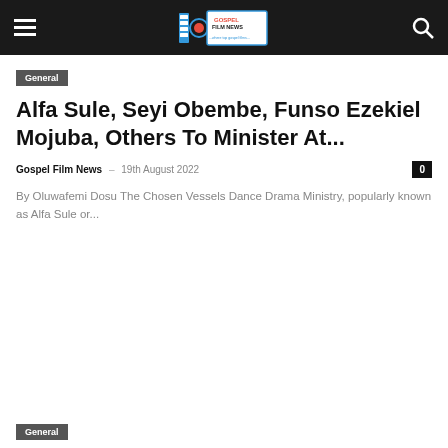Gospel Film News – navigation header
General
Alfa Sule, Seyi Obembe, Funso Ezekiel Mojuba, Others To Minister At...
Gospel Film News – 19th August 2022
By Oluwafemi Dosu The Chosen Vessels Dance Drama Ministry, popularly known as Alfa Sule or...
General